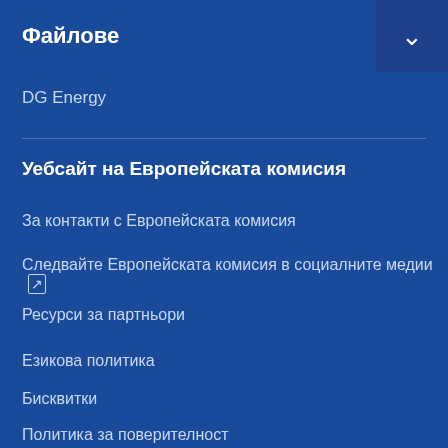Файлове
DG Energy
Уебсайт на Европейската комисия
За контакти с Европейската комисия
Следвайте Европейската комисия в социалните медии
Ресурси за партньори
Езикова политика
Бисквитки
Политика за поверителност
Правна информация